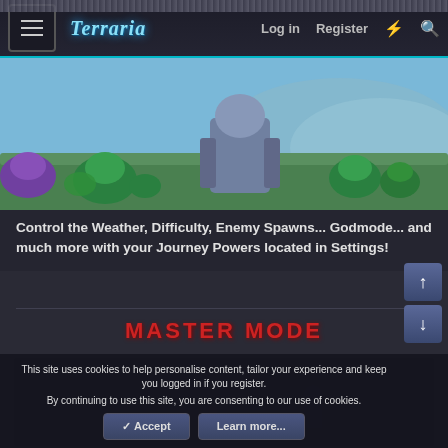Terraria — Log in  Register
[Figure (screenshot): Terraria game screenshot showing slimes on a green landscape with a large armored character in the background]
Control the Weather, Difficulty, Enemy Spawns... Godmode... and much more with your Journey Powers located in Settings!
MASTER MODE
[Figure (screenshot): Dark Terraria game scene with a character silhouette]
This site uses cookies to help personalise content, tailor your experience and keep you logged in if you register.
By continuing to use this site, you are consenting to our use of cookies.
✓ Accept   Learn more...